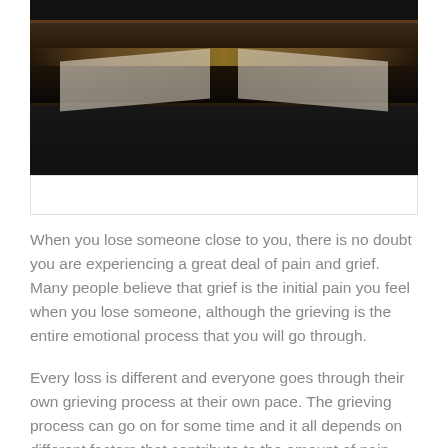[Figure (photo): A photograph of an open book or bible with dark leather binding and gold-edged pages, shot in low light against a dark background.]
When you lose someone close to you, there is no doubt you are experiencing a great deal of pain and grief. Many people believe that grief is the initial pain you feel when you lose someone, although the grieving is the entire emotional process that you will go through.
Every loss is different and everyone goes through their own grieving process at their own pace. The grieving process can go on for some time and it all depends on different factors that contribute to the amount of pain you are feeling. Some take months and others may take years